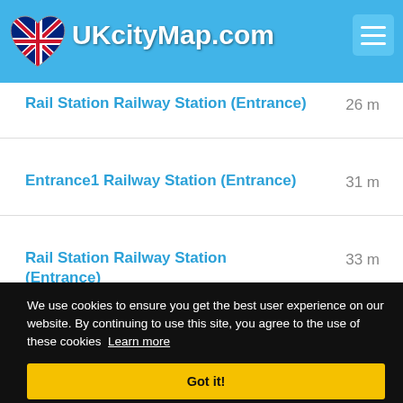UKcityMap.com
Rail Station Railway Station (Entrance)   26 m
Entrance1 Railway Station (Entrance)   31 m
Rail Station Railway Station (Entrance)   33 m
We use cookies to ensure you get the best user experience on our website. By continuing to use this site, you agree to the use of these cookies  Learn more
Got it!
Fornham Road Bus Stop   73 m